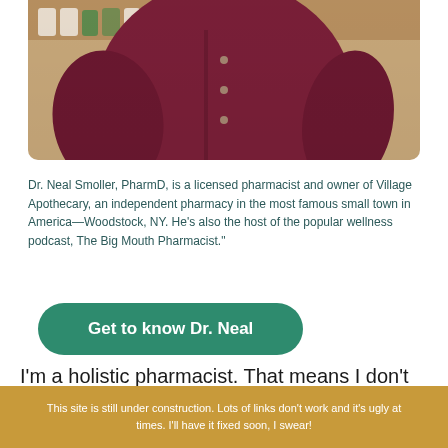[Figure (photo): Photo of Dr. Neal Smoller, a man in a dark maroon/burgundy button-up shirt, standing in what appears to be a pharmacy setting with shelves of bottles visible in the background.]
Dr. Neal Smoller, PharmD, is a licensed pharmacist and owner of Village Apothecary, an independent pharmacy in the most famous small town in America—Woodstock, NY. He's also the host of the popular wellness podcast, The Big Mouth Pharmacist."
Get to know Dr. Neal
I'm a holistic pharmacist. That means I don't want to push drugs. Quite the opposite.
This site is still under construction. Lots of links don't work and it's ugly at times. I'll have it fixed soon, I swear!